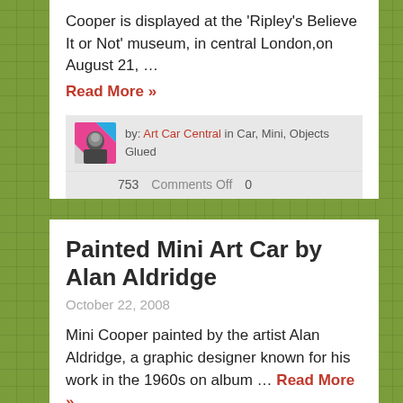Cooper is displayed at the 'Ripley's Believe It or Not' museum, in central London,on August 21, …
Read More »
by: Art Car Central in Car, Mini, Objects Glued
753   Comments Off   0
Painted Mini Art Car by Alan Aldridge
October 22, 2008
Mini Cooper painted by the artist Alan Aldridge, a graphic designer known for his work in the 1960s on album … Read More »